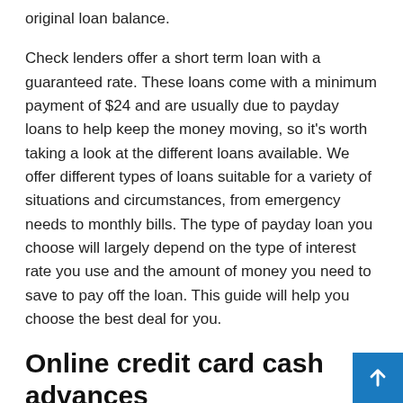original loan balance.
Check lenders offer a short term loan with a guaranteed rate. These loans come with a minimum payment of $24 and are usually due to payday loans to help keep the money moving, so it's worth taking a look at the different loans available. We offer different types of loans suitable for a variety of situations and circumstances, from emergency needs to monthly bills. The type of payday loan you choose will largely depend on the type of interest rate you use and the amount of money you need to save to pay off the loan. This guide will help you choose the best deal for you.
Online credit card cash advances
A credit card cash advance offers a cheaper and more convenient way to pay for your in-store and online purchases. Many credit cards have some form of cash advance feature, and many shoppers have even found ways to purchase their fav products online. Also get small online payday loans with no